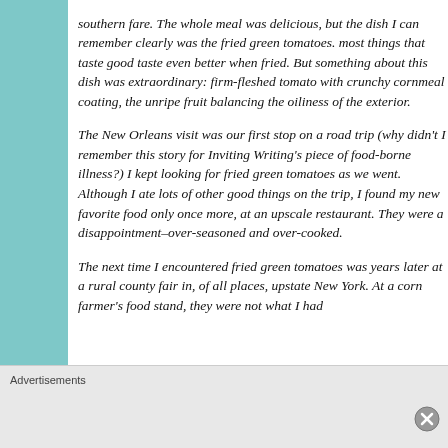southern fare. The whole meal was delicious, but the dish I can remember clearly was the fried green tomatoes. most things that taste good taste even better when fried. But something about this dish was extraordinary: firm-fleshed tomato with crunchy cornmeal coating, the unripe fruit balancing the oiliness of the exterior.
The New Orleans visit was our first stop on a road trip (why didn't I remember this story for Inviting Writing's piece of food-borne illness?) I kept looking for fried green tomatoes as we went. Although I ate lots of other good things on the trip, I found my new favorite food only once more, at an upscale restaurant. They were a disappointment–over-seasoned and over-cooked.
The next time I encountered fried green tomatoes was years later at a rural county fair in, of all places, upstate New York. At a corn farmer's food stand, they were not what I had...
Advertisements